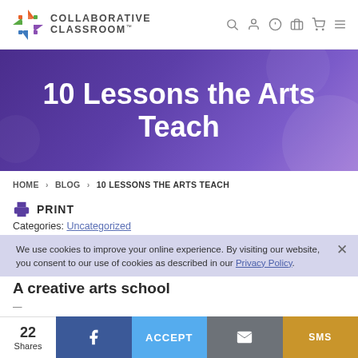COLLABORATIVE CLASSROOM
10 Lessons the Arts Teach
HOME > BLOG > 10 LESSONS THE ARTS TEACH
PRINT
Categories: Uncategorized
We use cookies to improve your online experience. By visiting our website, you consent to our use of cookies as described in our Privacy Policy.
A creative arts school
22 Shares